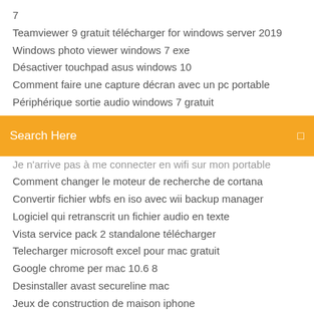7
Teamviewer 9 gratuit télécharger for windows server 2019
Windows photo viewer windows 7 exe
Désactiver touchpad asus windows 10
Comment faire une capture décran avec un pc portable
Périphérique sortie audio windows 7 gratuit
[Figure (screenshot): Orange search bar with text 'Search Here' and a small icon on the right]
Je n'arrive pas à me connecter en wifi sur mon portable
Comment changer le moteur de recherche de cortana
Convertir fichier wbfs en iso avec wii backup manager
Logiciel qui retranscrit un fichier audio en texte
Vista service pack 2 standalone télécharger
Telecharger microsoft excel pour mac gratuit
Google chrome per mac 10.6 8
Desinstaller avast secureline mac
Jeux de construction de maison iphone
Télécharger snaptube video pour android (gratuit)
Comment ouvrir un document word avec open office